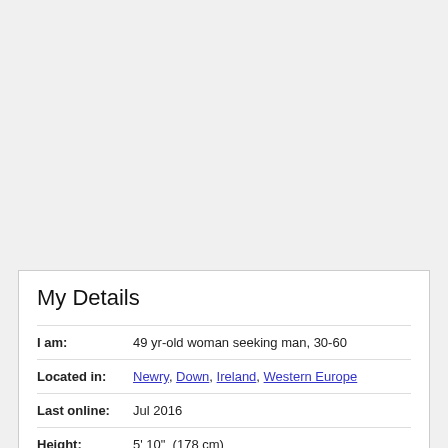My Details
I am: 49 yr-old woman seeking man, 30-60
Located in: Newry, Down, Ireland, Western Europe
Last online: Jul 2016
Height: 5' 10"  (178 cm)
Body Type: Slim/Slender